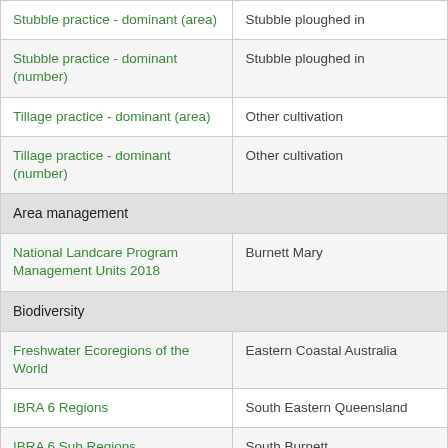| Topic | Value |
| --- | --- |
| Stubble practice - dominant (area) | Stubble ploughed in |
| Stubble practice - dominant (number) | Stubble ploughed in |
| Tillage practice - dominant (area) | Other cultivation |
| Tillage practice - dominant (number) | Other cultivation |
| Area management |  |
| National Landcare Program Management Units 2018 | Burnett Mary |
| Biodiversity |  |
| Freshwater Ecoregions of the World | Eastern Coastal Australia |
| IBRA 6 Regions | South Eastern Queensland |
| IBRA 6 Sub Regions | South Burnett |
| IBRA 7 Regions | South Eastern Queensland |